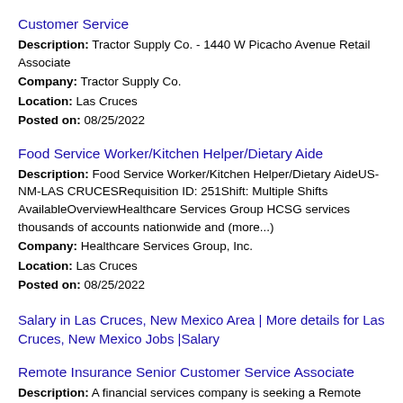Customer Service
Description: Tractor Supply Co. - 1440 W Picacho Avenue Retail Associate
Company: Tractor Supply Co.
Location: Las Cruces
Posted on: 08/25/2022
Food Service Worker/Kitchen Helper/Dietary Aide
Description: Food Service Worker/Kitchen Helper/Dietary AideUS-NM-LAS CRUCESRequisition ID: 251Shift: Multiple Shifts AvailableOverviewHealthcare Services Group HCSG services thousands of accounts nationwide and (more...)
Company: Healthcare Services Group, Inc.
Location: Las Cruces
Posted on: 08/25/2022
Salary in Las Cruces, New Mexico Area | More details for Las Cruces, New Mexico Jobs |Salary
Remote Insurance Senior Customer Service Associate
Description: A financial services company is seeking a Remote Insurance Senior Customer Service Associate. br br Must
Company: VirtualVocations